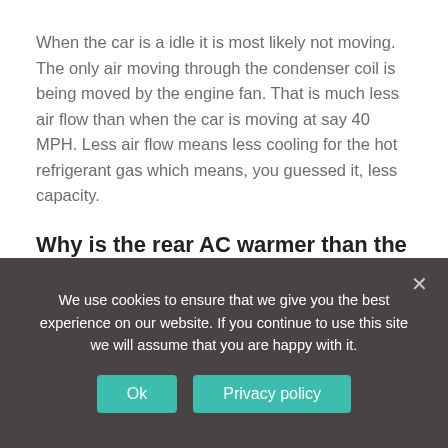When the car is a idle it is most likely not moving. The only air moving through the condenser coil is being moved by the engine fan. That is much less air flow than when the car is moving at say 40 MPH. Less air flow means less cooling for the hot refrigerant gas which means, you guessed it, less capacity.
Why is the rear AC warmer than the front?
When the rear ac is turned on only, the air isn't that cold. But when the front ac is turned on, the rear ac is blowing colder air out the vents. That's because the rear AC by itself can't turn the compressor on.  The front AC has to be on
We use cookies to ensure that we give you the best experience on our website. If you continue to use this site we will assume that you are happy with it.